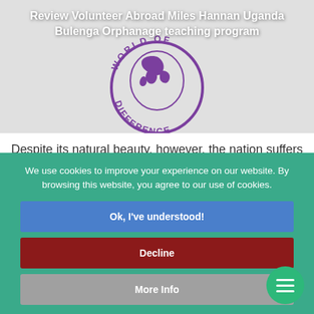[Figure (logo): World of Difference circular logo in purple with globe and text around the circle]
Review Volunteer Abroad Miles Hannan Uganda Bulenga Orphanage teaching program
Despite its natural beauty, however, the nation suffers from...
We use cookies to improve your experience on our website. By browsing this website, you agree to our use of cookies.
Ok, I've understood!
Decline
More Info